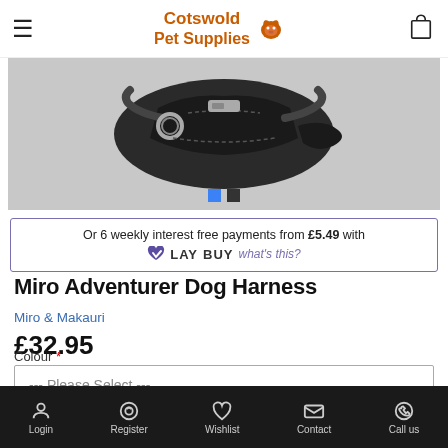Cotswold Pet Supplies
[Figure (photo): Photo of a black dog harness (Miro Adventurer Dog Harness) with metal ring and straps visible, on a white background. Carousel with two dots below.]
Or 6 weekly interest free payments from £5.49 with LAYBUY what's this?
Miro Adventurer Dog Harness
Miro & Makauri
£32.95
This website uses cookies to ensure you get the best experience on our website.
Learn more
Colour *
--- Please Select ---
Got it!
Login  Register  Wishlist  Contact  Call us